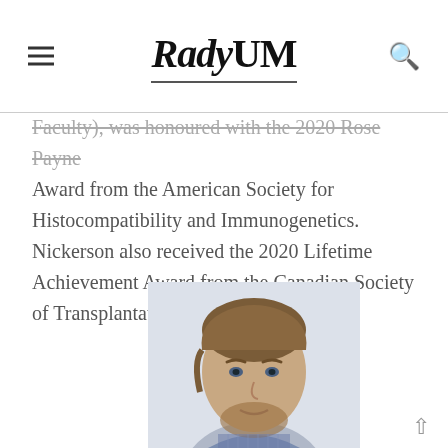RadyUM
Faculty), was honoured with the 2020 Rose Payne Award from the American Society for Histocompatibility and Immunogenetics. Nickerson also received the 2020 Lifetime Achievement Award from the Canadian Society of Transplantation.
[Figure (photo): Headshot photo of a young man with short brown hair and a beard, wearing a checkered shirt, against a light background.]